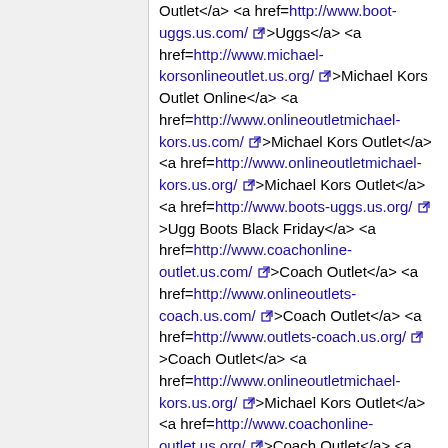Outlet</a> <a href=http://www.boot-uggs.us.com/ >Uggs</a> <a href=http://www.michael-korsonlineoutlet.us.org/ >Michael Kors Outlet Online</a> <a href=http://www.onlineoutletmichael-kors.us.com/ >Michael Kors Outlet</a> <a href=http://www.onlineoutletmichael-kors.us.org/ >Michael Kors Outlet</a> <a href=http://www.boots-uggs.us.org/ >Ugg Boots Black Friday</a> <a href=http://www.coachonline-outlet.us.com/ >Coach Outlet</a> <a href=http://www.onlineoutlets-coach.us.com/ >Coach Outlet</a> <a href=http://www.outlets-coach.us.org/ >Coach Outlet</a> <a href=http://www.onlineoutletmichael-kors.us.org/ >Michael Kors Outlet</a> <a href=http://www.coachonline-outlet.us.org/ >Coach Outlet</a> <a href=http://www.boot-uggs.us.org/ >Ugg Black Friday</a> <a href=http://www.uggblackfriday.us.org/ >Uggs